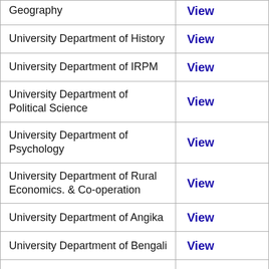| Department | Link |
| --- | --- |
| Geography | View |
| University Department of History | View |
| University Department of IRPM | View |
| University Department of Political Science | View |
| University Department of Psychology | View |
| University Department of Rural Economics. & Co-operation | View |
| University Department of Angika | View |
| University Department of Bengali | View |
| University Department of English | View |
| University Department of Hindi | View |